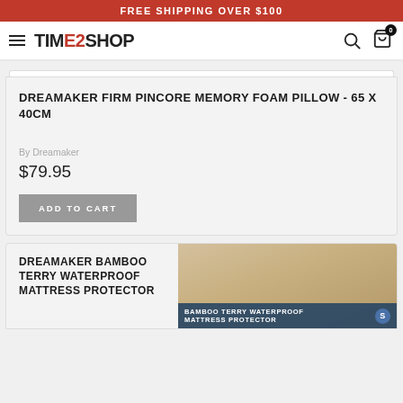FREE SHIPPING OVER $100
[Figure (logo): TIME2SHOP logo with hamburger menu, search icon, and cart icon with badge 0]
DREAMAKER FIRM PINCORE MEMORY FOAM PILLOW - 65 X 40CM
By Dreamaker
$79.95
ADD TO CART
DREAMAKER BAMBOO TERRY WATERPROOF MATTRESS PROTECTOR
[Figure (photo): Bamboo terry waterproof mattress protector product image with dark blue overlay text reading BAMBOO TERRY WATERPROOF MATTRESS PROTECTOR and an S badge]